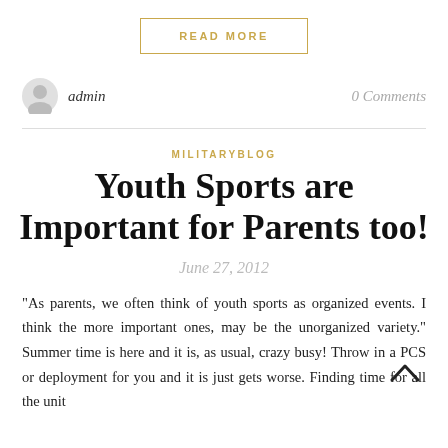READ MORE
admin
0 Comments
MILITARYBLOG
Youth Sports are Important for Parents too!
June 27, 2012
“As parents, we often think of youth sports as organized events. I think the more important ones, may be the unorganized variety.” Summer time is here and it is, as usual, crazy busy! Throw in a PCS or deployment for you and it is just gets worse. Finding time for all the unit